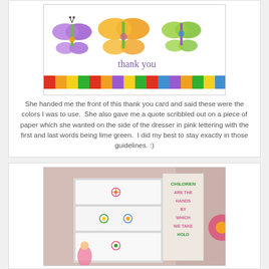[Figure (photo): A colorful thank you card featuring three butterflies (purple, orange, yellow-green) and a rainbow stripe bar at the bottom, with 'thank you' handwritten in purple script]
She handed me the front of this thank you card and said these were the colors I was to use.  She also gave me a quote scribbled out on a piece of paper which she wanted on the side of the dresser in pink lettering with the first and last words being lime green.  I did my best to stay exactly in those guidelines. :)
[Figure (photo): A white dresser photographed at an angle showing three drawers with colorful flower/starburst knob decorations and a fairy figure. On the side of the dresser is painted text reading 'CHILDREN ARE THE HANDS BY WHICH WE TAKE HOLD' with 'CHILDREN' in green and the rest in pink lettering.]